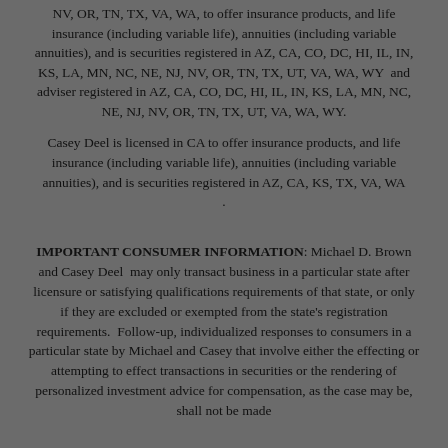NV, OR, TN, TX, VA, WA, to offer insurance products, and life insurance (including variable life), annuities (including variable annuities), and is securities registered in AZ, CA, CO, DC, HI, IL, IN, KS, LA, MN, NC, NE, NJ, NV, OR, TN, TX, UT, VA, WA, WY and adviser registered in AZ, CA, CO, DC, HI, IL, IN, KS, LA, MN, NC, NE, NJ, NV, OR, TN, TX, UT, VA, WA, WY.
Casey Deel is licensed in CA to offer insurance products, and life insurance (including variable life), annuities (including variable annuities), and is securities registered in AZ, CA, KS, TX, VA, WA .
IMPORTANT CONSUMER INFORMATION: Michael D. Brown and Casey Deel may only transact business in a particular state after licensure or satisfying qualifications requirements of that state, or only if they are excluded or exempted from the state's registration requirements. Follow-up, individualized responses to consumers in a particular state by Michael and Casey that involve either the effecting or attempting to effect transactions in securities or the rendering of personalized investment advice for compensation, as the case may be, shall not be made